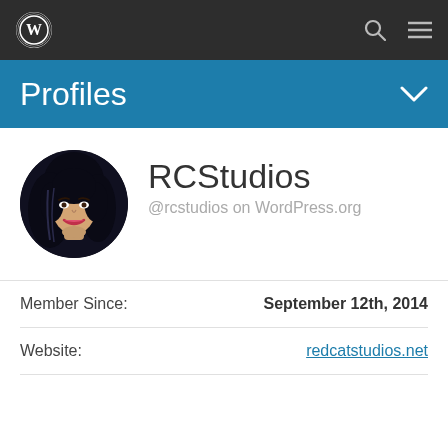[Figure (screenshot): WordPress.com navigation bar with logo, search icon, and menu icon on dark background]
Profiles
[Figure (illustration): Circular avatar of a woman with dark hair, stylized illustration style]
RCStudios
@rcstudios on WordPress.org
Member Since:
September 12th, 2014
Website:
redcatstudios.net